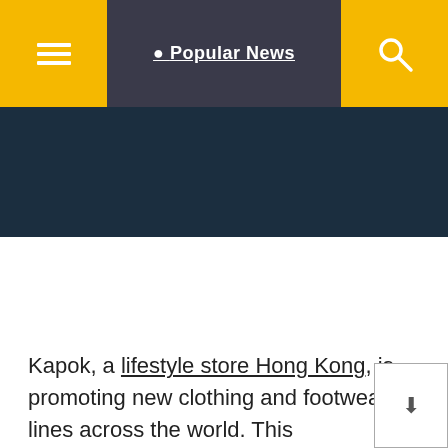☰  Popular News 🔍
[Figure (screenshot): Dark teal/navy banner below navigation bar, appears to be an image placeholder area]
Kapok, a lifestyle store Hong Kong, is promoting new clothing and footwear lines across the world. This